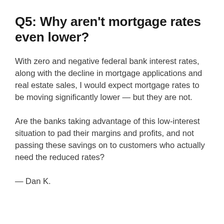Q5: Why aren’t mortgage rates even lower?
With zero and negative federal bank interest rates, along with the decline in mortgage applications and real estate sales, I would expect mortgage rates to be moving significantly lower — but they are not.
Are the banks taking advantage of this low-interest situation to pad their margins and profits, and not passing these savings on to customers who actually need the reduced rates?
— Dan K.